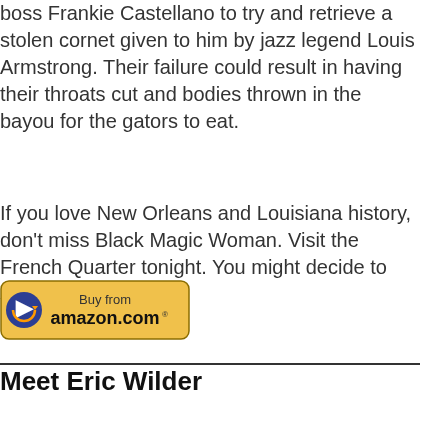boss Frankie Castellano to try and retrieve a stolen cornet given to him by jazz legend Louis Armstrong. Their failure could result in having their throats cut and bodies thrown in the bayou for the gators to eat.
If you love New Orleans and Louisiana history, don't miss Black Magic Woman. Visit the French Quarter tonight. You might decide to stay awhile.
[Figure (other): Buy from amazon.com button]
Meet Eric Wilder